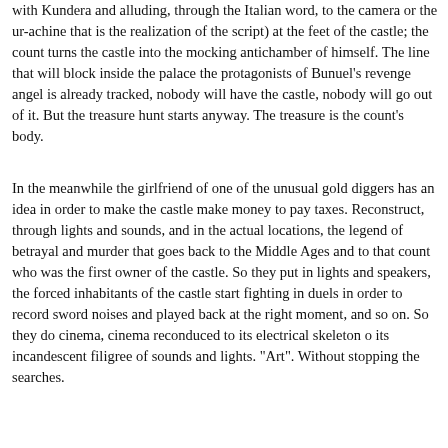with Kundera and alluding, through the Italian word, to the camera or the ur-achine that is the realization of the script) at the feet of the castle; the count turns the castle into the mocking antichamber of himself. The line that will block inside the palace the protagonists of Bunuel's revenge angel is already tracked, nobody will have the castle, nobody will go out of it. But the treasure hunt starts anyway. The treasure is the count's body.
In the meanwhile the girlfriend of one of the unusual gold diggers has an idea in order to make the castle make money to pay taxes. Reconstruct, through lights and sounds, and in the actual locations, the legend of betrayal and murder that goes back to the Middle Ages and to that count who was the first owner of the castle. So they put in lights and speakers, the forced inhabitants of the castle start fighting in duels in order to record sword noises and played back at the right moment, and so on. So they do cinema, cinema reconduced to its electrical skeleton o its incandescent filigree of sounds and lights. "Art". Without stopping the searches.